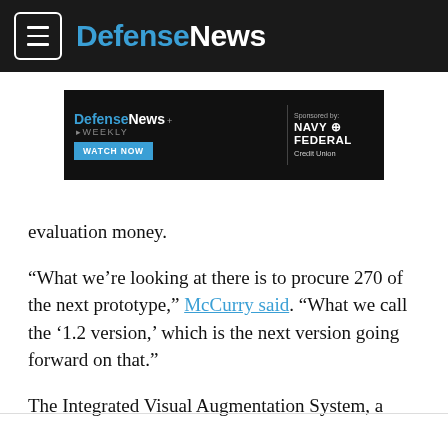DefenseNews
[Figure (screenshot): DefenseNews Weekly advertisement banner with WATCH NOW button, sponsored by Navy Federal Credit Union]
evaluation money.
“What we’re looking at there is to procure 270 of the next prototype,” McCurry said. “What we call the ‘1.2 version,’ which is the next version going forward on that.”
The Integrated Visual Augmentation System, a